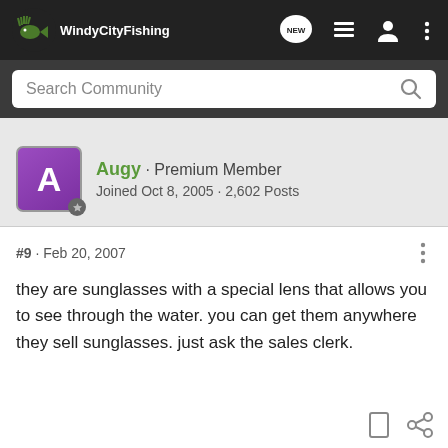Windy City Fishing
Search Community
Augy · Premium Member
Joined Oct 8, 2005 · 2,602 Posts
#9 · Feb 20, 2007
they are sunglasses with a special lens that allows you to see through the water. you can get them anywhere they sell sunglasses. just ask the sales clerk.